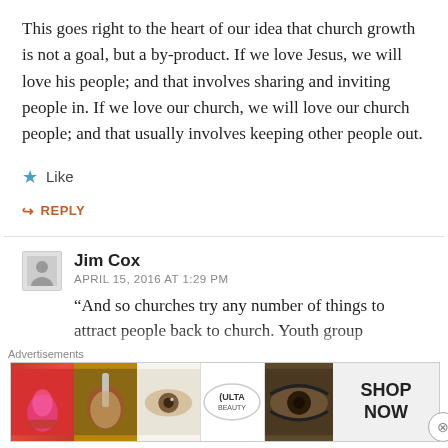This goes right to the heart of our idea that church growth is not a goal, but a by-product. If we love Jesus, we will love his people; and that involves sharing and inviting people in. If we love our church, we will love our church people; and that usually involves keeping other people out.
Like
REPLY
Jim Cox
APRIL 15, 2016 AT 1:29 PM
“And so churches try any number of things to attract people back to church. Youth group programs, programs—
[Figure (screenshot): Ulta Beauty advertisement banner showing makeup/cosmetics imagery with text SHOP NOW]
Advertisements